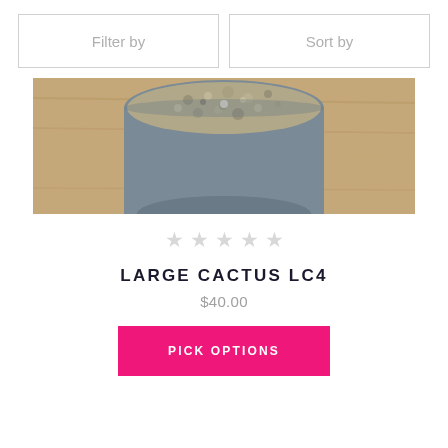Filter by
Sort by
[Figure (photo): Top-down view of a cactus in a gray pot with sandy/gravel soil, on a wooden surface]
★★★★★ (empty stars / no rating)
LARGE CACTUS LC4
$40.00
PICK OPTIONS